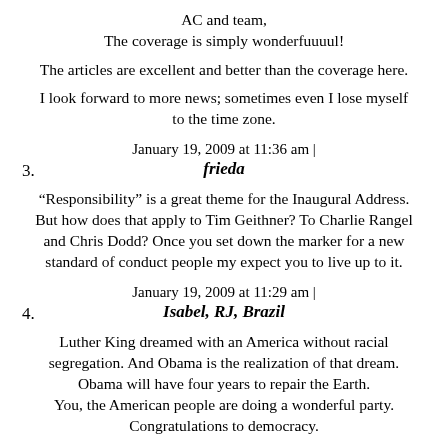AC and team,
The coverage is simply wonderfuuuul!
The articles are excellent and better than the coverage here.
I look forward to more news; sometimes even I lose myself to the time zone.
January 19, 2009 at 11:36 am |
3. frieda
“Responsibility” is a great theme for the Inaugural Address. But how does that apply to Tim Geithner? To Charlie Rangel and Chris Dodd? Once you set down the marker for a new standard of conduct people my expect you to live up to it.
January 19, 2009 at 11:29 am |
4. Isabel, RJ, Brazil
Luther King dreamed with an America without racial segregation. And Obama is the realization of that dream. Obama will have four years to repair the Earth. You, the American people are doing a wonderful party. Congratulations to democracy.
!